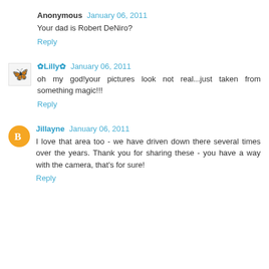Anonymous  January 06, 2011
Your dad is Robert DeNiro?
Reply
✿Lilly✿  January 06, 2011
oh my god!your pictures look not real...just taken from something magic!!!
Reply
Jillayne  January 06, 2011
I love that area too - we have driven down there several times over the years. Thank you for sharing these - you have a way with the camera, that's for sure!
Reply